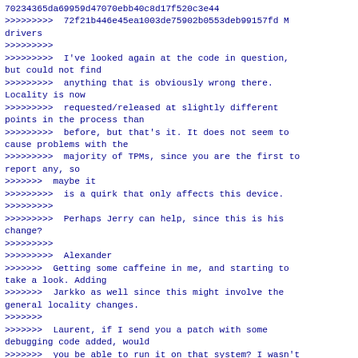70234365da69959d47070ebb40c8d17f520c3e44
>>>>>>>>>  72f21b446e45ea1003de75902b0553deb99157fd M drivers
>>>>>>>>>
>>>>>>>>>  I've looked again at the code in question, but could not find
>>>>>>>>>  anything that is obviously wrong there. Locality is now
>>>>>>>>>  requested/released at slightly different points in the process than
>>>>>>>>>  before, but that's it. It does not seem to cause problems with the
>>>>>>>>>  majority of TPMs, since you are the first to report any, so
>>>>>>>  maybe it
>>>>>>>>>  is a quirk that only affects this device.
>>>>>>>>>
>>>>>>>>>  Perhaps Jerry can help, since this is his change?
>>>>>>>>>
>>>>>>>>>  Alexander
>>>>>>>  Getting some caffeine in me, and starting to take a look. Adding
>>>>>>>  Jarkko as well since this might involve the general locality changes.
>>>>>>>
>>>>>>>  Laurent, if I send you a patch with some debugging code added, would
>>>>>>>  you be able to run it on that system? I wasn't running into issues